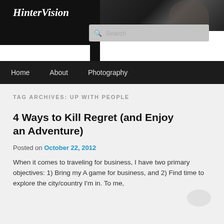HinterVision
[Figure (screenshot): Website screenshot showing HinterVision blog header with dark background, navigation bar with Home, About, Photography links, and a tag archives page for 'UP WITH PEOPLE' featuring an article titled '4 Ways to Kill Regret (and Enjoy an Adventure)' posted on October 22, 2012]
TAG ARCHIVES: UP WITH PEOPLE
4 Ways to Kill Regret (and Enjoy an Adventure)
Posted on October 22, 2012
When it comes to traveling for business, I have two primary objectives: 1) Bring my A game for business, and 2) Find time to explore the city/country I'm in. To me,